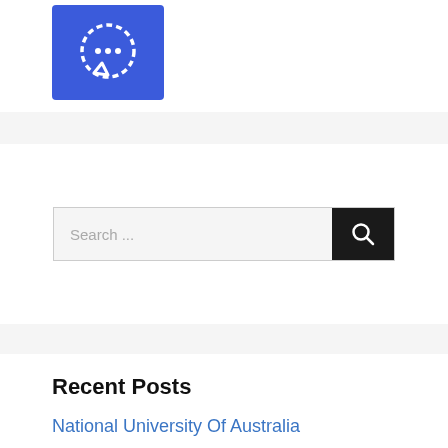[Figure (logo): Signal app logo – white dashed speech bubble icon on blue square background]
Search ...
Recent Posts
National University Of Australia